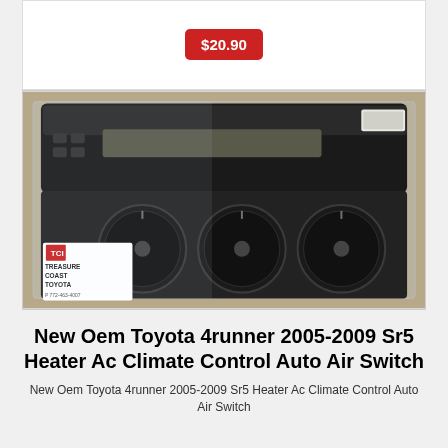$20.90
[Figure (photo): A Toyota 4runner OEM heater AC climate control auto air switch unit in clear plastic packaging. The part shows a black control panel with multiple rotary dials/knobs. A Treasure Coast Toyota dealer label is visible in the lower left corner.]
New Oem Toyota 4runner 2005-2009 Sr5 Heater Ac Climate Control Auto Air Switch
New Oem Toyota 4runner 2005-2009 Sr5 Heater Ac Climate Control Auto Air Switch